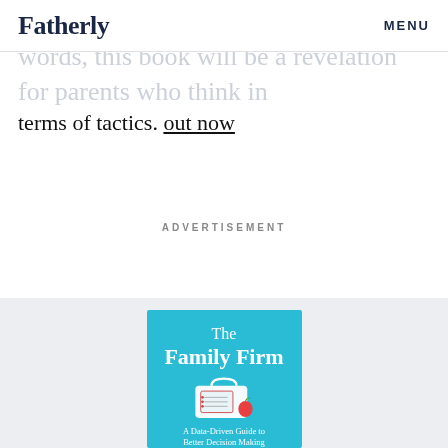Fatherly   MENU
...let your kid figure it out. In other words, this book will be a revelation for parents who think in terms of tactics. out now
ADVERTISEMENT
[Figure (illustration): Book cover of 'The Family Firm: A Data-Driven Guide to Better Decision Making' with a cyan/turquoise background, white text title, and an illustration of a lunchbox/briefcase with a checklist and apple.]